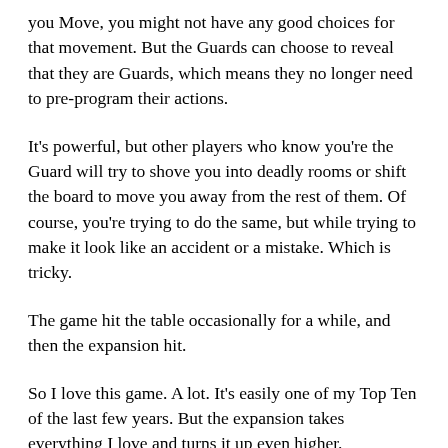you Move, you might not have any good choices for that movement. But the Guards can choose to reveal that they are Guards, which means they no longer need to pre-program their actions.
It's powerful, but other players who know you're the Guard will try to shove you into deadly rooms or shift the board to move you away from the rest of them. Of course, you're trying to do the same, but while trying to make it look like an accident or a mistake. Which is tricky.
The game hit the table occasionally for a while, and then the expansion hit.
So I love this game. A lot. It's easily one of my Top Ten of the last few years. But the expansion takes everything I love and turns it up even higher.
It increases player count, adds some new rooms, and gives each character a special ability. Each player also gains an "Adrenaline" token that you can program to take a third action at some point during the game. It also has a chart with some suggestions for